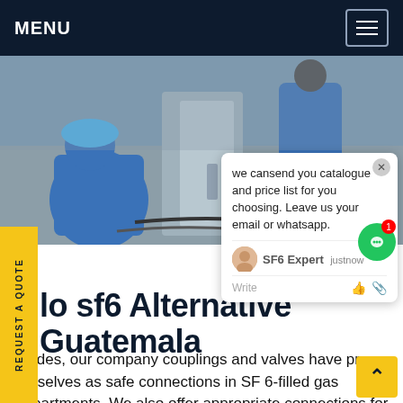MENU
[Figure (photo): Two workers in blue uniforms and hard hats working on industrial SF6 gas equipment/switchgear in a facility]
REQUEST A QUOTE
we cansend you catalogue and price list for you choosing. Leave us your email or whatsapp.
SF6 Expert   justnow
Write
lo sf6 Alternative d Guatemala
decades, our company couplings and valves have proven themselves as safe connections in SF 6-filled gas compartments. We also offer appropriate connections for connecting SF 6-filled switchgear or electrical equipment, which are